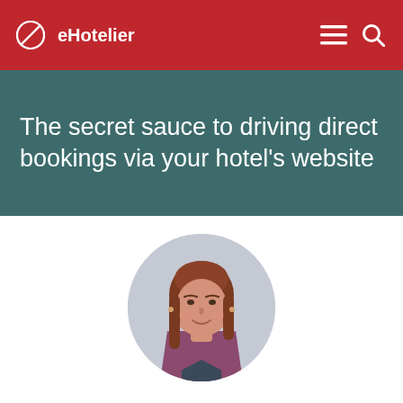eHotelier
The secret sauce to driving direct bookings via your hotel's website
[Figure (photo): Circular portrait photo of a woman with long auburn hair wearing a purple/mauve blazer over a dark top, smiling, against a light grey background]